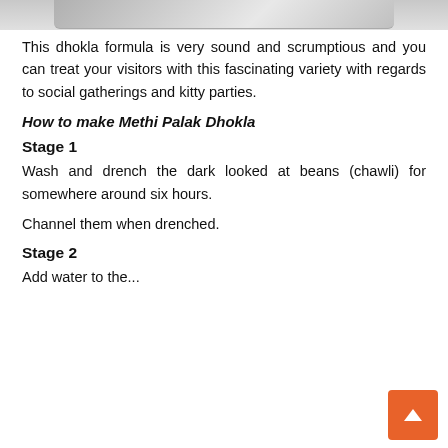[Figure (photo): Partial view of a dish/plate at the top of the page, cropped]
This dhokla formula is very sound and scrumptious and you can treat your visitors with this fascinating variety with regards to social gatherings and kitty parties.
How to make Methi Palak Dhokla
Stage 1
Wash and drench the dark looked at beans (chawli) for somewhere around six hours.
Channel them when drenched.
Stage 2
Add water to the...